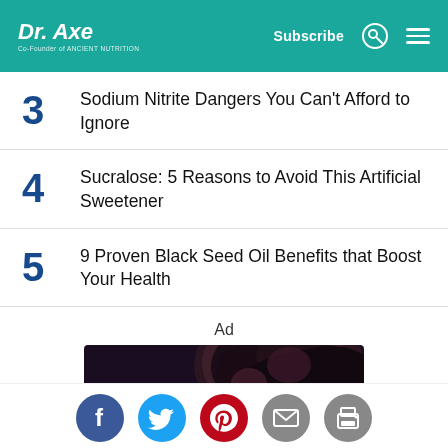Dr. Axe — Co-Founder of Ancient Nutrition | Subscribe
3 Sodium Nitrite Dangers You Can't Afford to Ignore
4 Sucralose: 5 Reasons to Avoid This Artificial Sweetener
5 9 Proven Black Seed Oil Benefits that Boost Your Health
Ad
[Figure (photo): Advertisement image showing dark round seeds (likely black seed/nigella sativa)]
Social share icons: Facebook, Twitter, Pinterest, Email, Print